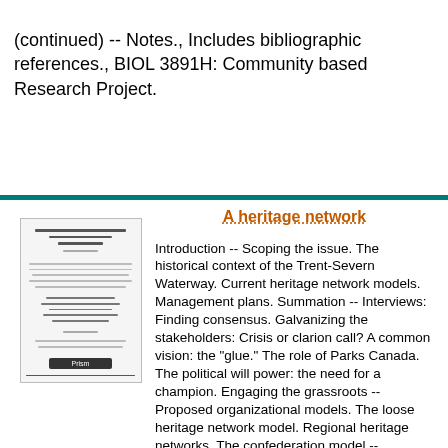(continued) -- Notes., Includes bibliographic references., BIOL 3891H: Community based Research Project.
[Figure (other): Thumbnail image of a document cover page with lines of text and a logo at the bottom]
A heritage network
Introduction -- Scoping the issue. The historical context of the Trent-Severn Waterway. Current heritage network models. Management plans. Summation -- Interviews: Finding consensus. Galvanizing the stakeholders: Crisis or clarion call? A common vision: the "glue." The role of Parks Canada. The political will power: the need for a champion. Engaging the grassroots -- Proposed organizational models. The loose heritage network model. Regional heritage networks. The confederation model -- Conclusions -- Appendix A: Notes and ...